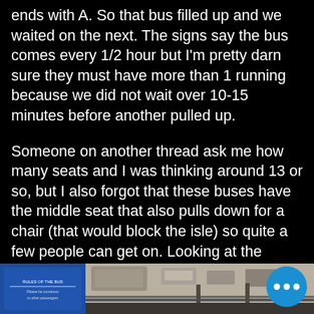ends with A. So that bus filled up and we waited on the next. The signs say the bus comes every 1/2 hour but I'm pretty darn sure they must have more than 1 running because we did not wait over 10-15 minutes before another pulled up.
Someone on another thread ask me how many seats and I was thinking around 13 or so, but I also forgot that these buses have the middle seat that also pulls down for a chair (that would block the isle) so quite a few people can get on. Looking at the picture, I'm thinking it might hold maybe 17 people??? I remember counting and I remember it being an odd number
[Figure (photo): Interior of a bus showing ceiling, overhead panels, and seating area partially visible.]